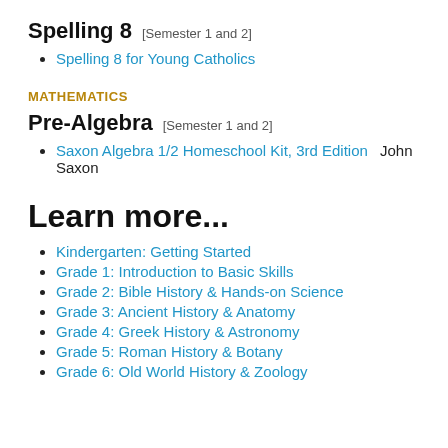Spelling 8  [Semester 1 and 2]
Spelling 8 for Young Catholics
MATHEMATICS
Pre-Algebra  [Semester 1 and 2]
Saxon Algebra 1/2 Homeschool Kit, 3rd Edition   John Saxon
Learn more...
Kindergarten: Getting Started
Grade 1: Introduction to Basic Skills
Grade 2: Bible History & Hands-on Science
Grade 3: Ancient History & Anatomy
Grade 4: Greek History & Astronomy
Grade 5: Roman History & Botany
Grade 6: Old World History & Zoology